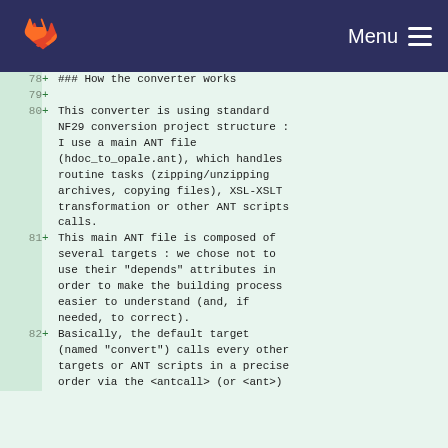Menu
78  + ### How the converter works
79  +
80  + This converter is using standard NF29 conversion project structure : I use a main ANT file (hdoc_to_opale.ant), which handles routine tasks (zipping/unzipping archives, copying files), XSL-XSLT transformation or other ANT scripts calls.
81  + This main ANT file is composed of several targets : we chose not to use their "depends" attributes in order to make the building process easier to understand (and, if needed, to correct).
82  + Basically, the default target (named "convert") calls every other targets or ANT scripts in a precise order via the <antcall> (or <ant>)